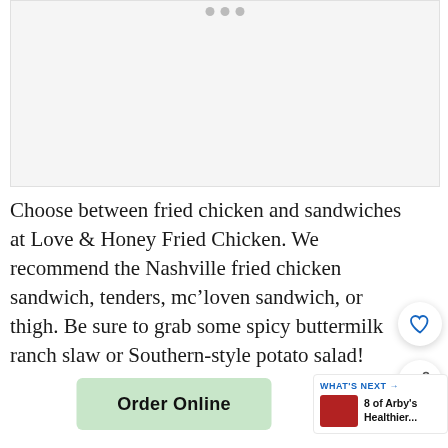[Figure (photo): Image placeholder area with three navigation dots at the top center, light gray background]
Choose between fried chicken and sandwiches at Love & Honey Fried Chicken. We recommend the Nashville fried chicken sandwich, tenders, mc’loven sandwich, or thigh. Be sure to grab some spicy buttermilk ranch slaw or Southern-style potato salad!
Order Online
WHAT'S NEXT → 8 of Arby's Healthier...